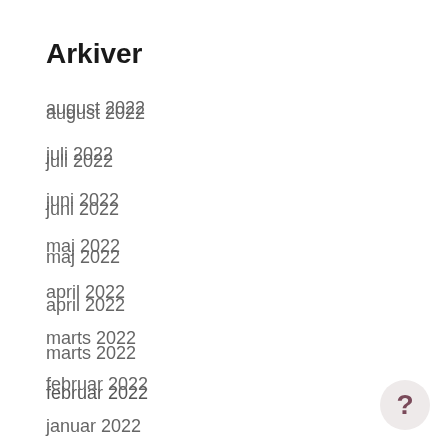Arkiver
august 2022
juli 2022
juni 2022
maj 2022
april 2022
marts 2022
februar 2022
januar 2022
december 2021
november 2021